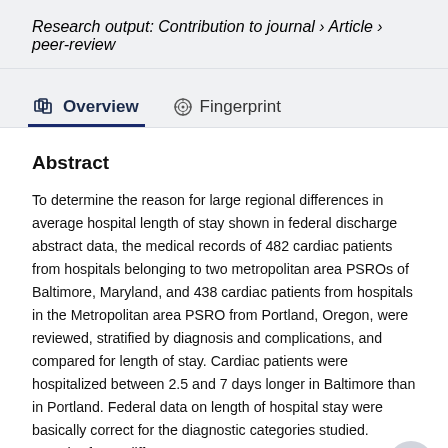Research output: Contribution to journal › Article › peer-review
Overview   Fingerprint
Abstract
To determine the reason for large regional differences in average hospital length of stay shown in federal discharge abstract data, the medical records of 482 cardiac patients from hospitals belonging to two metropolitan area PSROs of Baltimore, Maryland, and 438 cardiac patients from hospitals in the Metropolitan area PSRO from Portland, Oregon, were reviewed, stratified by diagnosis and complications, and compared for length of stay. Cardiac patients were hospitalized between 2.5 and 7 days longer in Baltimore than in Portland. Federal data on length of hospital stay were basically correct for the diagnostic categories studied. Length-of-stay differences